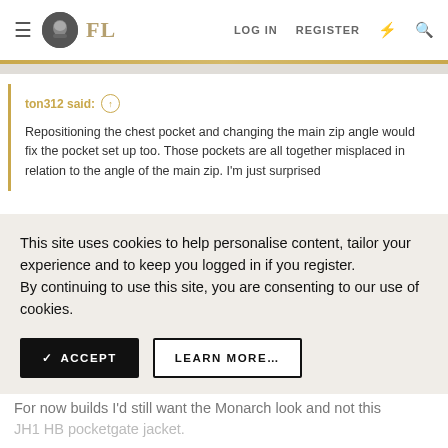FL  LOG IN  REGISTER
ton312 said: ↑

Repositioning the chest pocket and changing the main zip angle would fix the pocket set up too. Those pockets are all together misplaced in relation to the angle of the main zip. I'm just surprised
This site uses cookies to help personalise content, tailor your experience and to keep you logged in if you register.
By continuing to use this site, you are consenting to our use of cookies.
✓ ACCEPT    LEARN MORE...
For now builds I'd still want the Monarch look and not this JH1 HB pocketgate jacket.